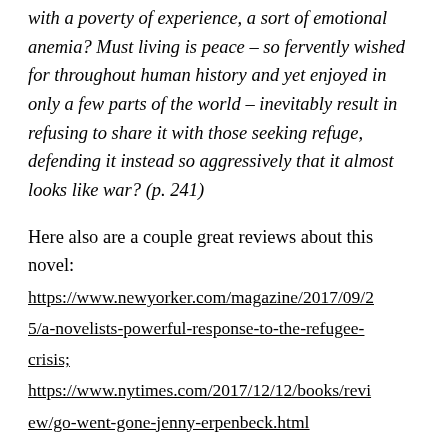with a poverty of experience, a sort of emotional anemia? Must living is peace – so fervently wished for throughout human history and yet enjoyed in only a few parts of the world – inevitably result in refusing to share it with those seeking refuge, defending it instead so aggressively that it almost looks like war? (p. 241)
Here also are a couple great reviews about this novel:
https://www.newyorker.com/magazine/2017/09/25/a-novelists-powerful-response-to-the-refugee-crisis;
https://www.nytimes.com/2017/12/12/books/review/go-went-gone-jenny-erpenbeck.html